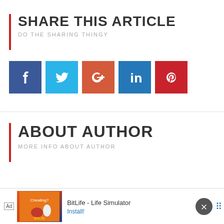SHARE THIS ARTICLE
DO THE SHARING THINGY
[Figure (infographic): Row of five social media share buttons: Facebook (dark blue), Twitter (light blue), Google+ (orange-red), LinkedIn (blue), Pinterest (red), each with white icon on colored square background]
ABOUT AUTHOR
MORE INFO ABOUT AUTHOR
[Figure (screenshot): Ad banner at bottom of page for BitLife - Life Simulator app with install button]